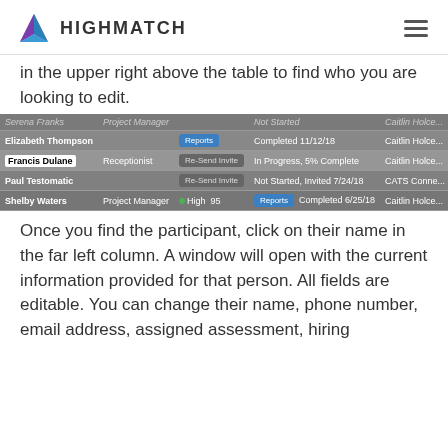HIGHMATCH
in the upper right above the table to find who you are looking to edit.
[Figure (screenshot): Screenshot of a participant management table showing rows for Serena Franks, Elizabeth Thompson, Francis Dulane, Paul Testomatic, and Shelby Waters with columns for name, role, action buttons (Reports/Re-Send Invite), status, and assigned user.]
Once you find the participant, click on their name in the far left column. A window will open with the current information provided for that person. All fields are editable. You can change their name, phone number, email address, assigned assessment, hiring